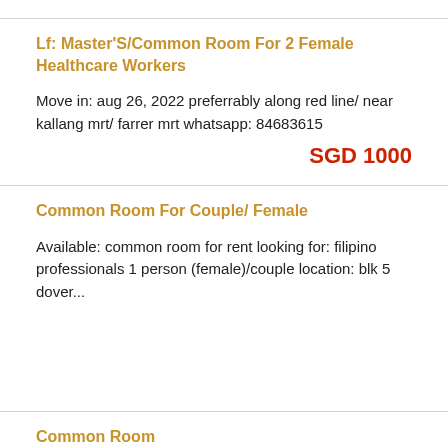Lf: Master'S/Common Room For 2 Female Healthcare Workers
Move in: aug 26, 2022 preferrably along red line/ near kallang mrt/ farrer mrt whatsapp: 84683615
SGD 1000
Common Room For Couple/ Female
Available: common room for rent looking for: filipino professionals 1 person (female)/couple location: blk 5 dover...
Common Room
Naghahanap po kami ng common room for 2 females...